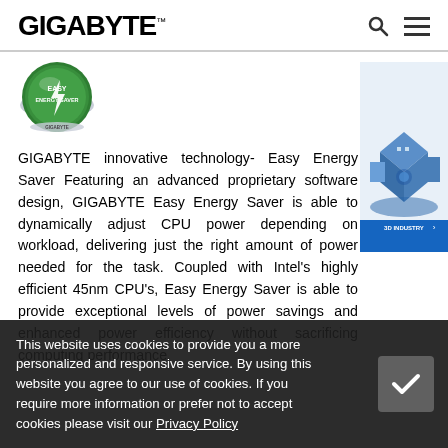GIGABYTE™
[Figure (logo): Easy Energy Saver circular green badge logo with GIGABYTE branding]
GIGABYTE innovative technology- Easy Energy Saver Featuring an advanced proprietary software design, GIGABYTE Easy Energy Saver is able to dynamically adjust CPU power depending on workload, delivering just the right amount of power needed for the task. Coupled with Intel's highly efficient 45nm CPU's, Easy Energy Saver is able to provide exceptional levels of power savings and enhanced power efficiency without sacrificing computing performance.
[Figure (illustration): 3D INDUSTRY isometric illustration of industrial/building scene with blue banner]
This website uses cookies to provide you a more personalized and responsive service. By using this website you agree to our use of cookies. If you require more information or prefer not to accept cookies please visit our Privacy Policy.